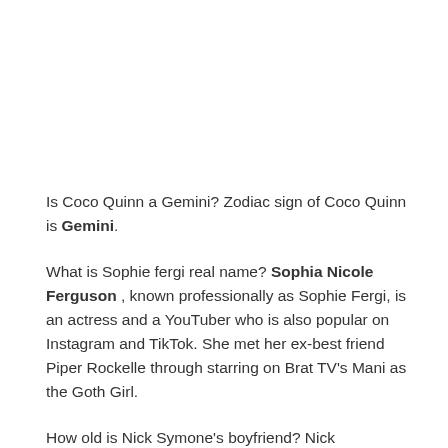Is Coco Quinn a Gemini? Zodiac sign of Coco Quinn is Gemini.
What is Sophie fergi real name? Sophia Nicole Ferguson , known professionally as Sophie Fergi, is an actress and a YouTuber who is also popular on Instagram and TikTok. She met her ex-best friend Piper Rockelle through starring on Brat TV's Mani as the Goth Girl.
How old is Nick Symone's boyfriend? Nick Bencivengo Wiki/Biography